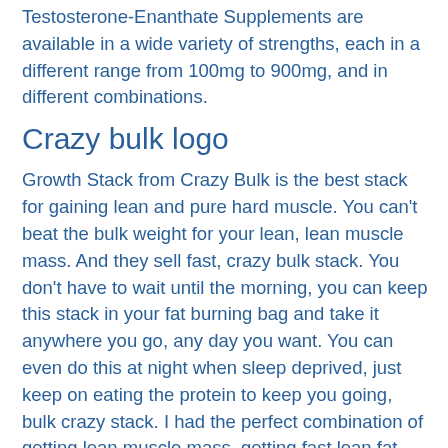Testosterone-Enanthate Supplements are available in a wide variety of strengths, each in a different range from 100mg to 900mg, and in different combinations.
Crazy bulk logo
Growth Stack from Crazy Bulk is the best stack for gaining lean and pure hard muscle. You can't beat the bulk weight for your lean, lean muscle mass. And they sell fast, crazy bulk stack. You don't have to wait until the morning, you can keep this stack in your fat burning bag and take it anywhere you go, any day you want. You can even do this at night when sleep deprived, just keep on eating the protein to keep you going, bulk crazy stack. I had the perfect combination of getting lean muscle mass, getting fast lean fat mass and not having to go grocery shopping with my family on a regular basis, crazy bulk website reviews. And it does all that